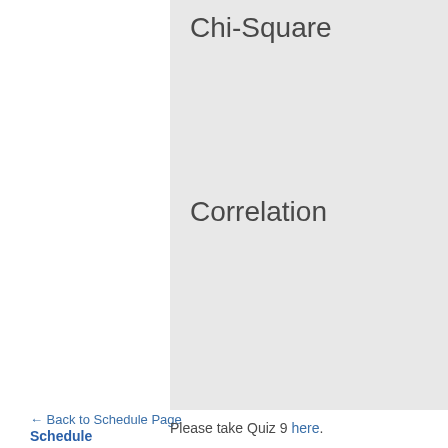Chi-Square
Correlation
← Back to Schedule Page
Schedule
Please take Quiz 9 here.